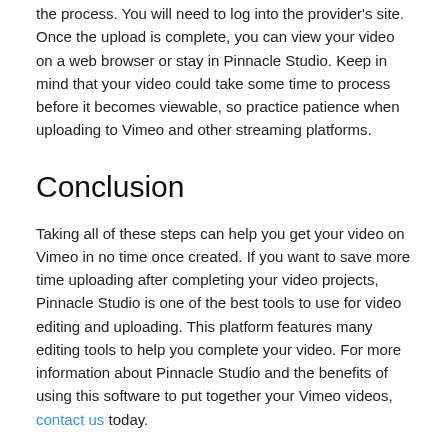the process. You will need to log into the provider's site. Once the upload is complete, you can view your video on a web browser or stay in Pinnacle Studio. Keep in mind that your video could take some time to process before it becomes viewable, so practice patience when uploading to Vimeo and other streaming platforms.
Conclusion
Taking all of these steps can help you get your video on Vimeo in no time once created. If you want to save more time uploading after completing your video projects, Pinnacle Studio is one of the best tools to use for video editing and uploading. This platform features many editing tools to help you complete your video. For more information about Pinnacle Studio and the benefits of using this software to put together your Vimeo videos, contact us today.